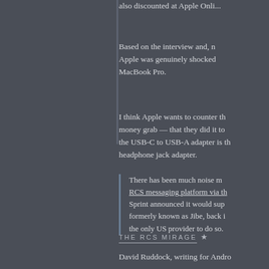also discounted at Apple Online...
Based on the interview and, n... Apple was genuinely shocked ... MacBook Pro.
I think Apple wants to counter th... money grab — that they did it to... the USB-C to USB-A adapter is th... headphone jack adapter.
THE RCS MIRAGE ★
David Ruddock, writing for Andro...
There has been much noise m... RCS messaging platform via th... Sprint announced it would sup... formerly known as Jibe, back i... the only US provider to do so.